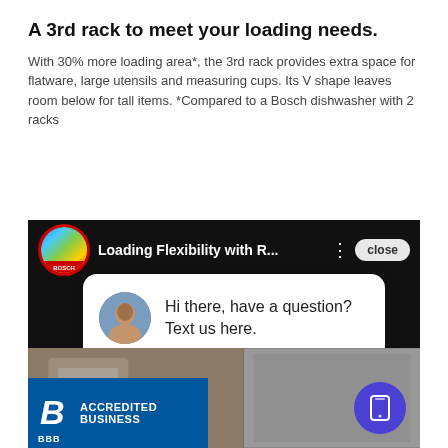A 3rd rack to meet your loading needs.
With 30% more loading area*, the 3rd rack provides extra space for flatware, large utensils and measuring cups. Its V shape leaves room below for tall items. *Compared to a Bosch dishwasher with 2 racks
[Figure (screenshot): Screenshot of a Bosch YouTube video player titled 'Loading Flexibility with R...' with a chat popup overlay saying 'Hi there, have a question? Text us here.' and a BBB Accredited Business badge in the lower left corner.]